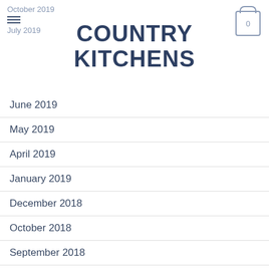October 2019 | COUNTRY KITCHENS | July 2019
June 2019
May 2019
April 2019
January 2019
December 2018
October 2018
September 2018
August 2018
June 2018
April 2018